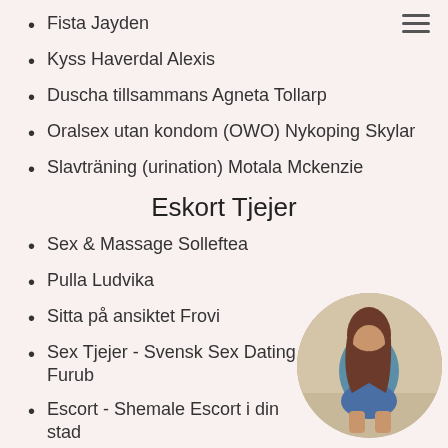Fista Jayden
Kyss Haverdal Alexis
Duscha tillsammans Agneta Tollarp
Oralsex utan kondom (OWO) Nykoping Skylar
Slavträning (urination) Motala Mckenzie
Eskort Tjejer
Sex & Massage Solleftea
Pulla Ludvika
Sitta på ansiktet Frovi
Sex Tjejer - Svensk Sex Dating Furub…
Escort - Shemale Escort i din stad…
Sexleksaker Sibo
Onani Fellingsbro
Sex Tjejer - Svensk Massage Escort Gaddodo…
[Figure (photo): Circular cropped photo of a woman in a blue top and denim shorts, posed from behind, bottom right corner of the page.]